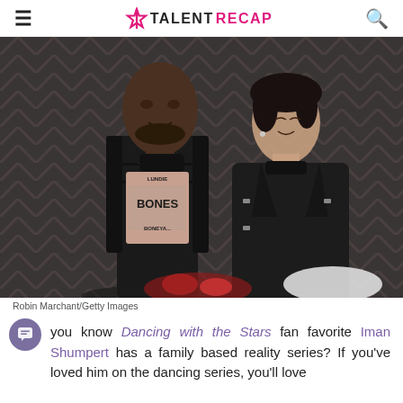TALENTRECAP
[Figure (photo): A couple posed together at an event. A tall Black man wearing a black tactical vest over a graphic tee reading 'LUNDIE BONES BONEYARD' with chain jewelry, and a woman with dark short hair leaning against him, wearing a black leather jacket. Dark chevron-patterned background.]
Robin Marchant/Getty Images
you know Dancing with the Stars fan favorite Iman Shumpert has a family based reality series? If you've loved him on the dancing series, you'll love